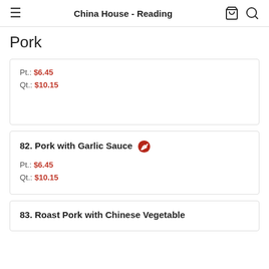China House - Reading
Pork
Pt.: $6.45
Qt.: $10.15
82. Pork with Garlic Sauce
Pt.: $6.45
Qt.: $10.15
83. Roast Pork with Chinese Vegetable